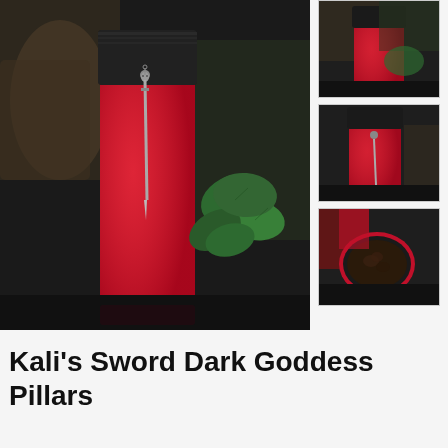[Figure (photo): Main product photo: a tall red pillar candle with a black fabric wrap at the top, decorated with a skull charm and a long sword/blade charm, set against a dark background with green ivy leaves and decorative items.]
[Figure (photo): Thumbnail 1: Red pillar candle with black wrap, top-down angle showing contents, against a background with foliage.]
[Figure (photo): Thumbnail 2: Red pillar candle with black wrap and skull/sword charms, side view similar to main image.]
[Figure (photo): Thumbnail 3: Top-down view of the red pillar candle showing the interior contents with dark herbs or materials inside.]
Kali's Sword Dark Goddess Pillars